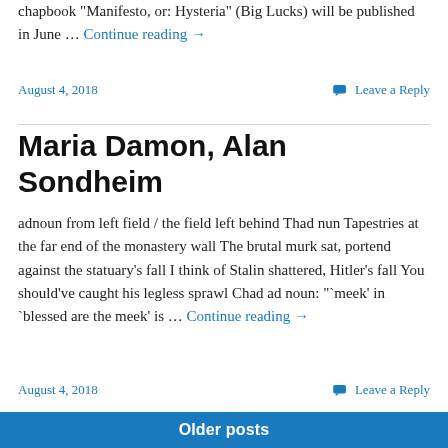chapbook "Manifesto, or: Hysteria" (Big Lucks) will be published in June … Continue reading →
August 4, 2018   Leave a Reply
Maria Damon, Alan Sondheim
adnoun from left field / the field left behind Thad nun Tapestries at the far end of the monastery wall The brutal murk sat, portend against the statuary's fall I think of Stalin shattered, Hitler's fall You should've caught his legless sprawl Chad ad noun: "`meek' in `blessed are the meek' is … Continue reading →
August 4, 2018   Leave a Reply
Older posts